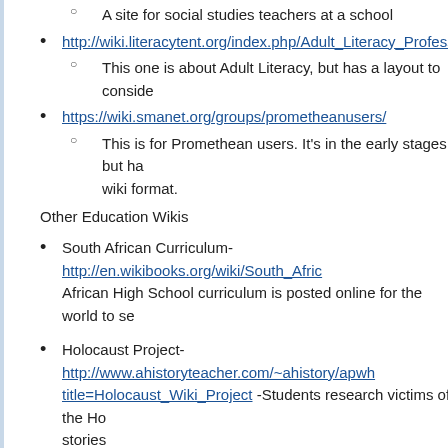A site for social studies teachers at a school
http://wiki.literacytent.org/index.php/Adult_Literacy_Professional_D...
This one is about Adult Literacy, but has a layout to consider...
https://wiki.smanet.org/groups/prometheanusers/
This is for Promethean users. It's in the early stages, but ha... wiki format.
Other Education Wikis
South African Curriculum- http://en.wikibooks.org/wiki/South_Afric... African High School curriculum is posted online for the world to se...
Holocaust Project- http://www.ahistoryteacher.com/~ahistory/apwh... title=Holocaust_Wiki_Project -Students research victims of the Ho... stories
Setting up your own wiki
Examples of Wiki Rules